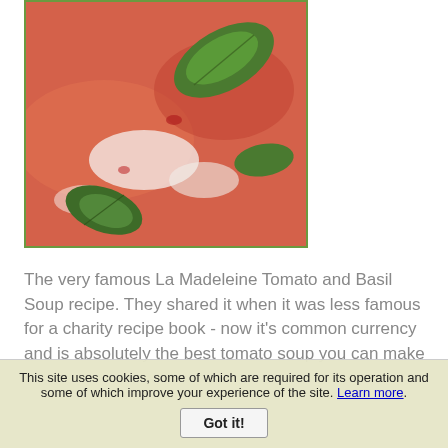[Figure (photo): Photo of La Madeleine Tomato and Basil Soup with green basil leaves on a reddish-orange tomato soup background]
The very famous La Madeleine Tomato and Basil Soup recipe. They shared it when it was less famous for a charity recipe book - now it's common currency and is absolutely the best tomato soup you can make
Prep Time: 10 minutes
Cook time: 30 minutes
Yield: 4
Main Ingredient: tomato, basil
This site uses cookies, some of which are required for its operation and some of which improve your experience of the site. Learn more. Got it!